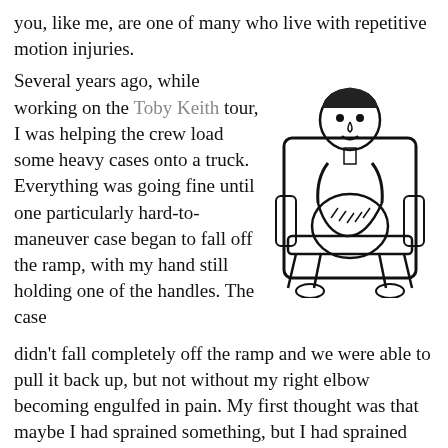you, like me, are one of many who live with repetitive motion injuries.
[Figure (illustration): Black and white illustration of a person sitting in a chair with their arm in a sling/cast.]
Several years ago, while working on the Toby Keith tour, I was helping the crew load some heavy cases onto a truck. Everything was going fine until one particularly hard-to-maneuver case began to fall off the ramp, with my hand still holding one of the handles. The case didn’t fall completely off the ramp and we were able to pull it back up, but not without my right elbow becoming engulfed in pain. My first thought was that maybe I had sprained something, but I had sprained joints before and they didn’t feel like this. This pain seemed to be centered on my right elbow, and was an intense, burning sensation, like my elbow was on fire.